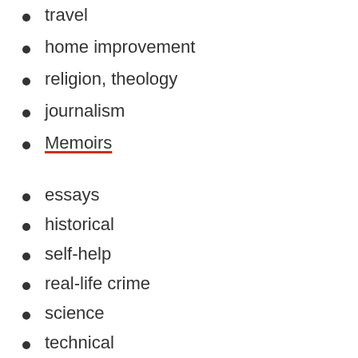travel
home improvement
religion, theology
journalism
Memoirs
essays
historical
self-help
real-life crime
science
technical
economic
humour